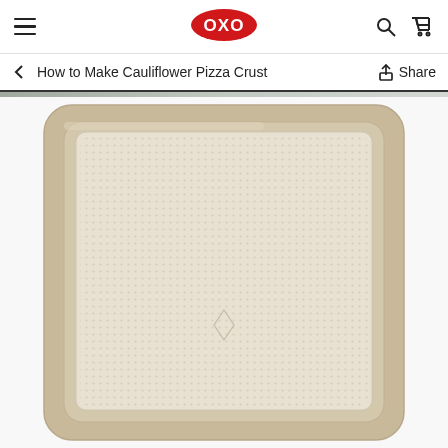OXO — How to Make Cauliflower Pizza Crust
[Figure (photo): OXO branded baking sheet / cookie pan with textured non-stick surface and gold/champagne colored rim, viewed from above at a slight angle]